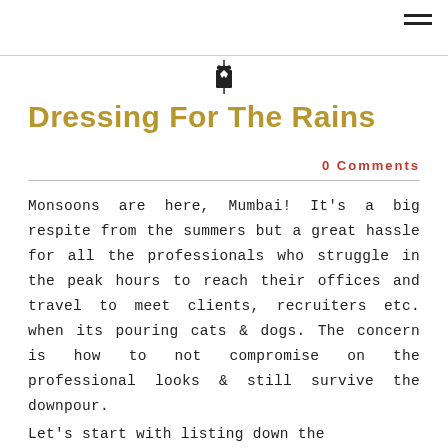[Figure (logo): Small coat/suit icon with letter T below, centered at top of page]
Dressing For The Rains
0 Comments
Monsoons are here, Mumbai! It's a big respite from the summers but a great hassle for all the professionals who struggle in the peak hours to reach their offices and travel to meet clients, recruiters etc. when its pouring cats & dogs. The concern is how to not compromise on the professional looks & still survive the downpour.
Let's start with listing down the